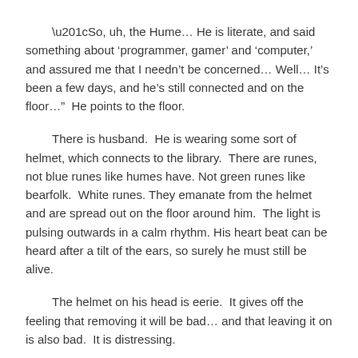“So, uh, the Hume… He is literate, and said something about ‘programmer, gamer’ and ‘computer,’ and assured me that I needn’t be concerned… Well… It’s been a few days, and he’s still connected and on the floor…”  He points to the floor.
There is husband.  He is wearing some sort of helmet, which connects to the library.  There are runes, not blue runes like humes have. Not green runes like bearfolk.  White runes. They emanate from the helmet and are spread out on the floor around him.  The light is pulsing outwards in a calm rhythm. His heart beat can be heard after a tilt of the ears, so surely he must still be alive.
The helmet on his head is eerie.  It gives off the feeling that removing it will be bad… and that leaving it on is also bad.  It is distressing.